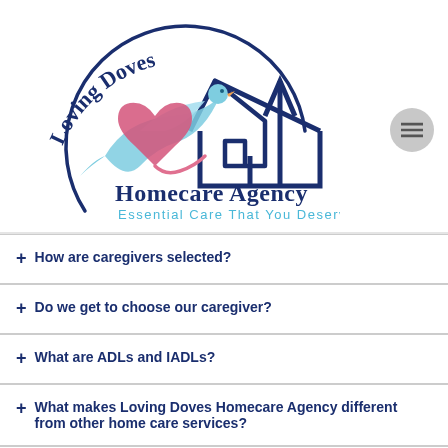[Figure (logo): Loving Doves Homecare Agency logo with dove, heart, and house icons. Text: 'Loving Doves' arched above, 'Homecare Agency' in dark blue, 'Essential Care That You Deserve' in light blue.]
+ How are caregivers selected?
+ Do we get to choose our caregiver?
+ What are ADLs and IADLs?
+ What makes Loving Doves Homecare Agency different from other home care services?
+ How are caregivers paid?